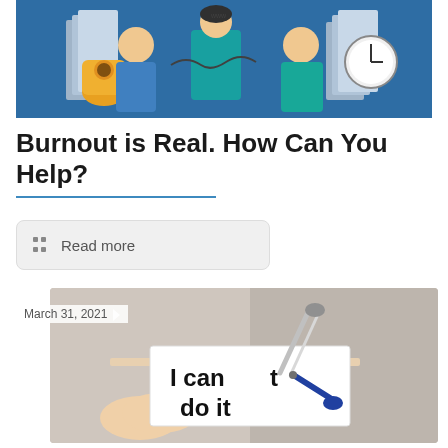[Figure (illustration): Colorful cartoon illustration of office workers with telephones, stacks of paper, and a clock, depicting a busy/stressful work environment on a blue background]
Burnout is Real. How Can You Help?
Read more
March 31, 2021
[Figure (photo): A hand holding a white card reading 'I can't do it' while scissors cut the word 'can't', leaving 'I can do it', against a blurred background]